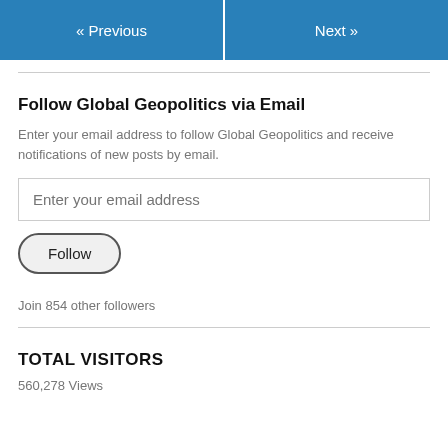« Previous   Next »
Follow Global Geopolitics via Email
Enter your email address to follow Global Geopolitics and receive notifications of new posts by email.
Enter your email address
Follow
Join 854 other followers
TOTAL VISITORS
560,278 Views